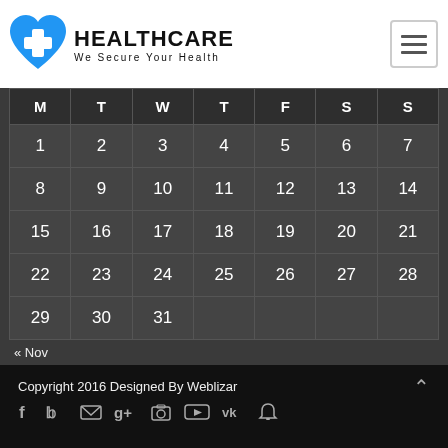HEALTHCARE We Secure Your Health
| M | T | W | T | F | S | S |
| --- | --- | --- | --- | --- | --- | --- |
| 1 | 2 | 3 | 4 | 5 | 6 | 7 |
| 8 | 9 | 10 | 11 | 12 | 13 | 14 |
| 15 | 16 | 17 | 18 | 19 | 20 | 21 |
| 22 | 23 | 24 | 25 | 26 | 27 | 28 |
| 29 | 30 | 31 |  |  |  |  |
« Nov
Copyright 2016 Designed By Weblizar